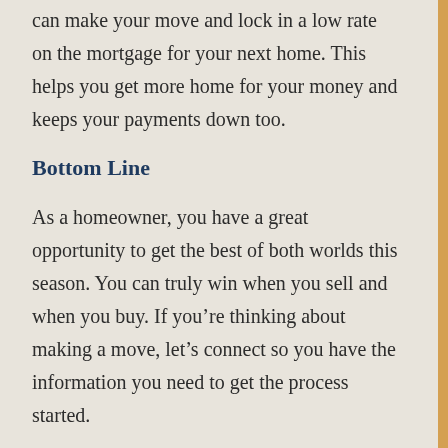can make your move and lock in a low rate on the mortgage for your next home. This helps you get more home for your money and keeps your payments down too.
Bottom Line
As a homeowner, you have a great opportunity to get the best of both worlds this season. You can truly win when you sell and when you buy. If you're thinking about making a move, let's connect so you have the information you need to get the process started.